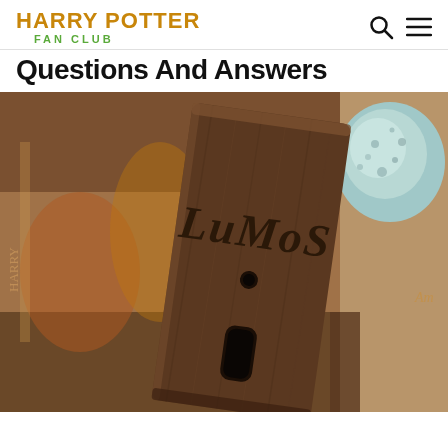HARRY POTTER FAN CLUB
Questions And Answers
[Figure (photo): Close-up photo of a dark walnut wood light switch plate with 'LuMoS' carved/burnt into it in stylized Harry Potter font. A small circular hole is visible in the center. Background shows a colorful illustrated book cover and a weathered blue-green metallic object on the right.]